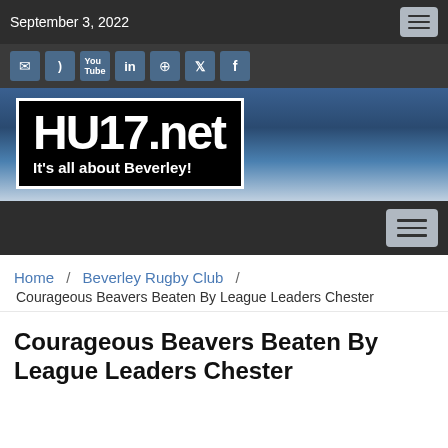September 3, 2022
[Figure (screenshot): Social media icon bar with email, RSS, YouTube, LinkedIn, Pinterest, Twitter, and Facebook icons on dark background]
[Figure (logo): HU17.net logo — black rectangle with white bold text 'HU17.net' and tagline 'It's all about Beverley!' on blue gradient background]
Navigation menu bar
Home / Beverley Rugby Club / Courageous Beavers Beaten By League Leaders Chester
Courageous Beavers Beaten By League Leaders Chester